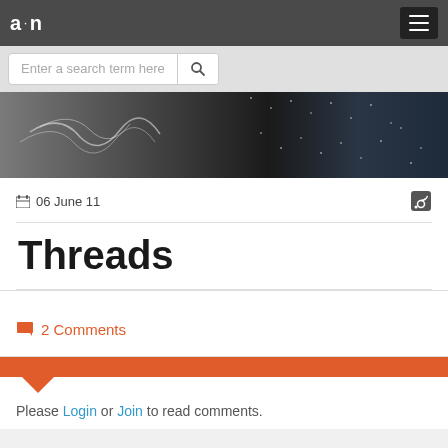a·n
Enter a search term here
[Figure (photo): Black and white abstract texture banner image, showing wave-like patterns and granular textures]
06 June 11
Threads
2 Comments
Please Login or Join to read comments.